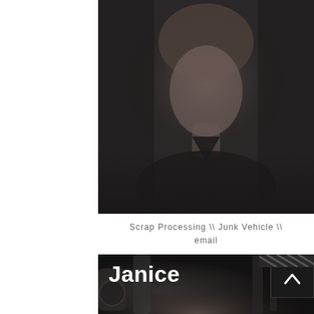[Figure (photo): Black and white portrait photo of a young woman with light hair, smiling slightly, wearing a dark top, photographed from the waist up against a dark background.]
Scrap Processing \\ Junk Vehicle \\ email
[Figure (photo): Black and white photo of a woman named Janice smiling, photographed against a dark industrial background with machinery. A white up-arrow button icon is visible in the bottom right. The name 'Janice' is overlaid in large bold white text at the top left.]